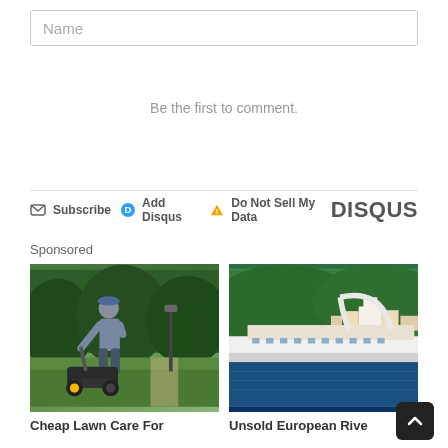Name
Be the first to comment.
Subscribe  Add Disqus  Do Not Sell My Data  DISQUS
Sponsored
[Figure (photo): Elderly man mowing the lawn with a push lawn mower on green grass, with hedges in the background]
Cheap Lawn Care For
[Figure (photo): Modern river cruise ship docked along a European riverbank with green hills and town buildings in the background]
Unsold European Rive